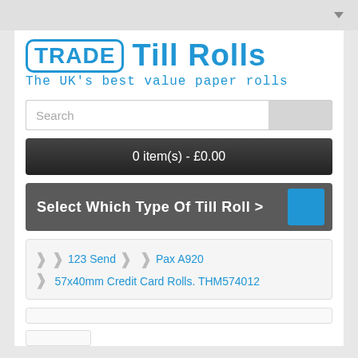[Figure (logo): Trade Till Rolls logo with blue text and bordered TRADE box]
The UK's best value paper rolls
Search
0 item(s) - £0.00
Select Which Type Of Till Roll >
123 Send   Pax A920   57x40mm Credit Card Rolls. THM574012